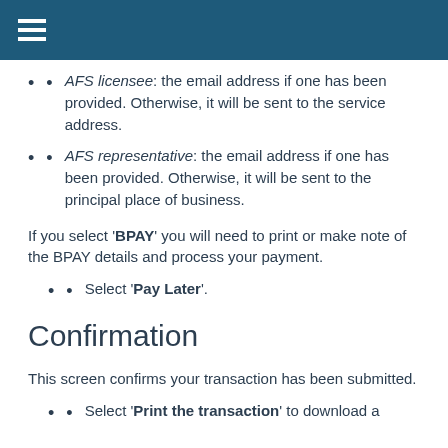AFS licensee: the email address if one has been provided. Otherwise, it will be sent to the service address.
AFS representative: the email address if one has been provided. Otherwise, it will be sent to the principal place of business.
If you select 'BPAY' you will need to print or make note of the BPAY details and process your payment.
Select 'Pay Later'.
Confirmation
This screen confirms your transaction has been submitted.
Select 'Print the transaction' to download a